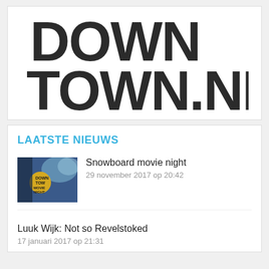[Figure (logo): Downtown.nl logo in large bold dark gray/black stacked text reading DOWN TOWN.NL]
LAATSTE NIEUWS
[Figure (photo): Thumbnail image of Downtown snowboard movie night event poster]
Snowboard movie night
29 november 2017 op 20:42
Luuk Wijk: Not so Revelstoked
17 januari 2017 op 21:31